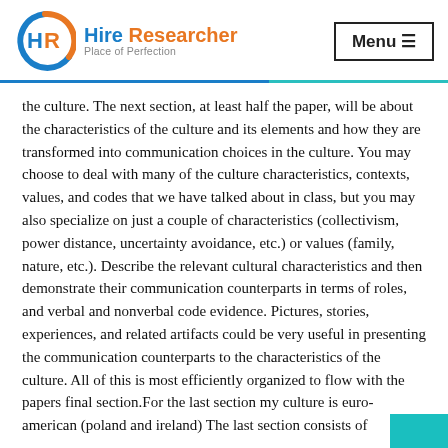[Figure (logo): Hire Researcher logo with circular HR icon in blue and orange, with tagline 'Place of Perfection']
Menu ≡
the culture. The next section, at least half the paper, will be about the characteristics of the culture and its elements and how they are transformed into communication choices in the culture. You may choose to deal with many of the culture characteristics, contexts, values, and codes that we have talked about in class, but you may also specialize on just a couple of characteristics (collectivism, power distance, uncertainty avoidance, etc.) or values (family, nature, etc.). Describe the relevant cultural characteristics and then demonstrate their communication counterparts in terms of roles, and verbal and nonverbal code evidence. Pictures, stories, experiences, and related artifacts could be very useful in presenting the communication counterparts to the characteristics of the culture. All of this is most efficiently organized to flow with the papers final section.For the last section my culture is euro-american (poland and ireland) The last section consists of